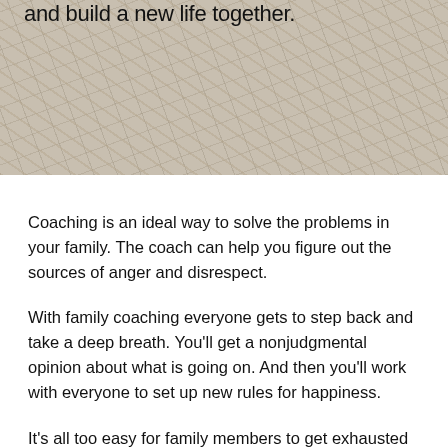and build a new life together.
[Figure (photo): Background image showing dry straw or hay with muted beige and gray tones]
Coaching is an ideal way to solve the problems in your family. The coach can help you figure out the sources of anger and disrespect.
With family coaching everyone gets to step back and take a deep breath. You'll get a nonjudgmental opinion about what is going on. And then you'll work with everyone to set up new rules for happiness.
It's all too easy for family members to get exhausted and start snapping at each other. When you feel like your needs are being ignored, disrespect and anger result.